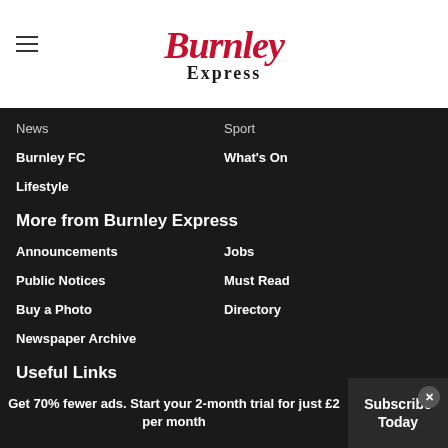[Figure (logo): Burnley Express newspaper logo with red Burnley text and black Express text]
News
Sport
Burnley FC
What's On
Lifestyle
More from Burnley Express
Announcements
Jobs
Public Notices
Must Read
Buy a Photo
Directory
Newspaper Archive
Useful Links
Contact Us
Advertise My Business
Advertise a Job
Place your Ad
Get 70% fewer ads. Start your 2-month trial for just £2 per month
Subscribe Today